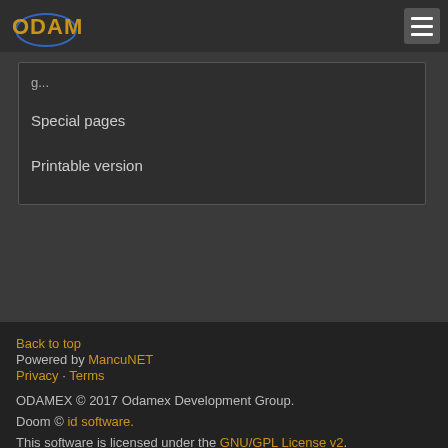ODAMEX [hamburger menu]
Special pages
Printable version
Back to top
Powered by MancuNET
Privacy · Terms

ODAMEX © 2017 Odamex Development Group.
Doom © id software.
This software is licensed under the GNU/GPL License v2.